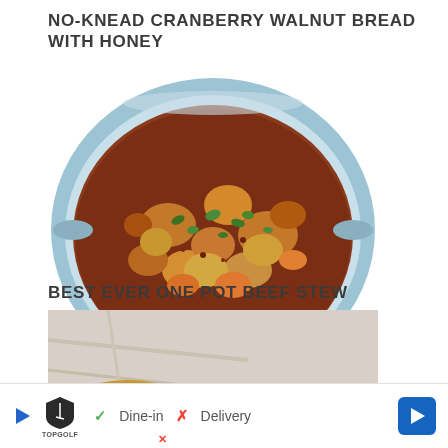NO-KNEAD CRANBERRY WALNUT BREAD WITH HONEY
[Figure (photo): A blue Dutch oven filled with hearty beef stew containing potatoes, carrots, and herbs, viewed from above]
BEST EVER ONE POT BEEF STEW
[Figure (photo): A partial view of a bowl of soup or stew with herbs, partially cut off at the bottom of the page]
Dine-in  ✓   Delivery  ✗